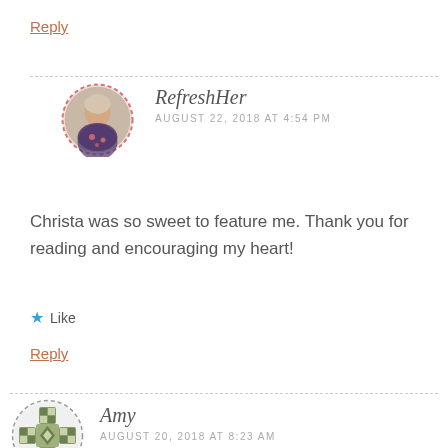Reply
[Figure (photo): Circular avatar photo of RefreshHer with dashed red border]
RefreshHer
AUGUST 22, 2018 AT 4:54 PM
Christa was so sweet to feature me. Thank you for reading and encouraging my heart!
★ Like
Reply
[Figure (illustration): Circular avatar with decorative geometric pattern in olive/sage green, dashed border]
Amy
AUGUST 20, 2018 AT 8:23 AM